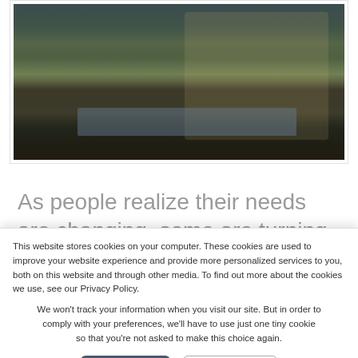[Figure (photo): Luxury home exterior at dusk/evening with illuminated arched facade, reflection pool/water feature in foreground, lush lawn and trees]
As people realize their needs are changing, some are turning to luxury
This website stores cookies on your computer. These cookies are used to improve your website experience and provide more personalized services to you, both on this website and through other media. To find out more about the cookies we use, see our Privacy Policy.
We won't track your information when you visit our site. But in order to comply with your preferences, we'll have to use just one tiny cookie so that you're not asked to make this choice again.